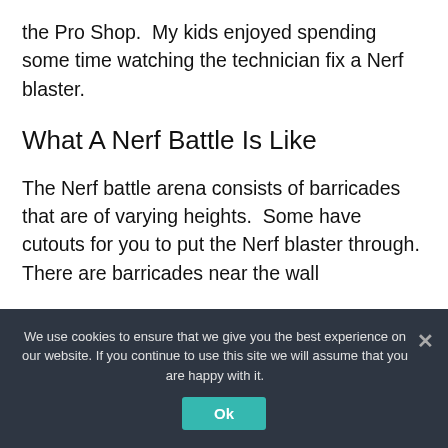the Pro Shop.  My kids enjoyed spending some time watching the technician fix a Nerf blaster.
What A Nerf Battle Is Like
The Nerf battle arena consists of barricades that are of varying heights.  Some have cutouts for you to put the Nerf blaster through.  There are barricades near the wall
We use cookies to ensure that we give you the best experience on our website. If you continue to use this site we will assume that you are happy with it.
Ok